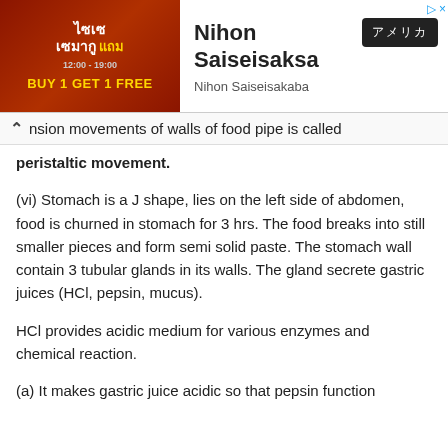[Figure (screenshot): Advertisement banner for 'Nihon Saiseisaksa' with a Thai food promotion image on the left showing 'BUY 1 GET 1 FREE' and Japanese text on the right with a dark button showing Japanese characters.]
nsion movements of walls of food pipe is called peristaltic movement.
(vi) Stomach is a J shape, lies on the left side of abdomen, food is churned in stomach for 3 hrs. The food breaks into still smaller pieces and form semi solid paste. The stomach wall contain 3 tubular glands in its walls. The gland secrete gastric juices (HCl, pepsin, mucus).
HCl provides acidic medium for various enzymes and chemical reaction.
(a) It makes gastric juice acidic so that pepsin function